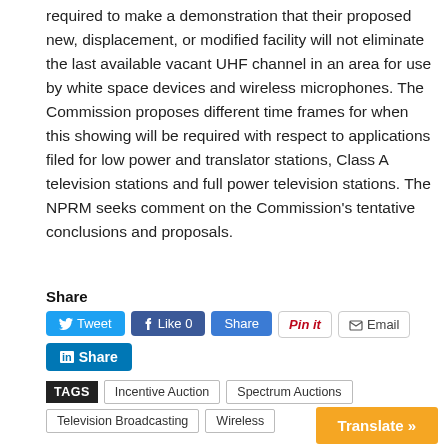required to make a demonstration that their proposed new, displacement, or modified facility will not eliminate the last available vacant UHF channel in an area for use by white space devices and wireless microphones. The Commission proposes different time frames for when this showing will be required with respect to applications filed for low power and translator stations, Class A television stations and full power television stations. The NPRM seeks comment on the Commission's tentative conclusions and proposals.
Share
[Figure (other): Social sharing buttons: Tweet, Like 0, Share, Pin it, Email, LinkedIn Share]
TAGS: Incentive Auction, Spectrum Auctions, Television Broadcasting, Wireless